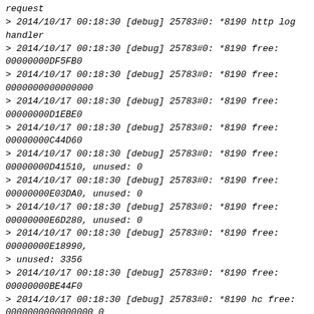> 2014/10/17 00:18:30 [debug] 25783#0: *8190 http log handler
> 2014/10/17 00:18:30 [debug] 25783#0: *8190 free: 00000000DF5FB0
> 2014/10/17 00:18:30 [debug] 25783#0: *8190 free: 0000000000000000
> 2014/10/17 00:18:30 [debug] 25783#0: *8190 free: 00000000D1EBE0
> 2014/10/17 00:18:30 [debug] 25783#0: *8190 free: 00000000C44D60
> 2014/10/17 00:18:30 [debug] 25783#0: *8190 free: 00000000D41510, unused: 0
> 2014/10/17 00:18:30 [debug] 25783#0: *8190 free: 00000000E03DA0, unused: 0
> 2014/10/17 00:18:30 [debug] 25783#0: *8190 free: 00000000E6D280, unused: 0
> 2014/10/17 00:18:30 [debug] 25783#0: *8190 free: 00000000E18990,
> unused: 3356
> 2014/10/17 00:18:30 [debug] 25783#0: *8190 free: 00000000BE44F0
> 2014/10/17 00:18:30 [debug] 25783#0: *8190 hc free: 0000000000000000 0
> 2014/10/17 00:18:30 [debug] 25783#0: *8190 hc busy: 00000000E075C0 1
> 2014/10/17 00:18:30 [debug] 25783#0: *8190 free: 00000000E8A030
> 2014/10/17 00:18:30 [debug] 25783#0: *8190 free: 00000000D2E0F0
> 2014/10/17 00:18:30 [debug] 25783#0: *8190 reusable